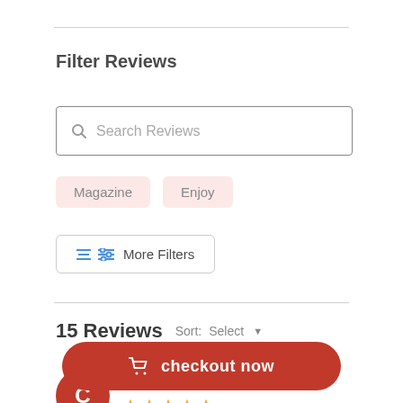Filter Reviews
Search Reviews
Magazine
Enjoy
More Filters
15 Reviews  Sort: Select
Caleb A.  Verified Buyer
checkout now